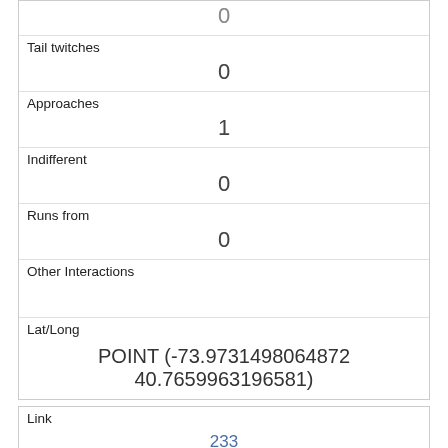| Tail twitches | 0 |
| Approaches | 1 |
| Indifferent | 0 |
| Runs from | 0 |
| Other Interactions |  |
| Lat/Long | POINT (-73.9731498064872 40.7659963196581) |
| Link | 233 |
| rowid | 233 |
| longitude | -73.9568343093228 |
| latitude |  |